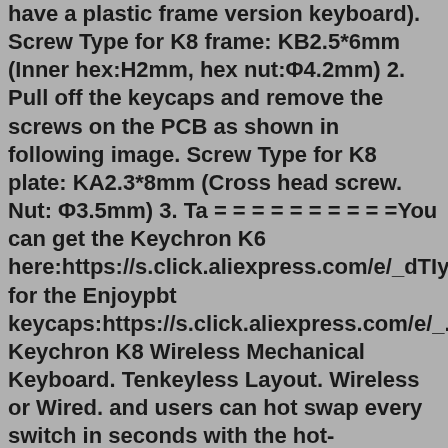have a plastic frame version keyboard). Screw Type for K8 frame: KB2.5*6mm (Inner hex:H2mm, hex nut:Φ4.2mm) 2. Pull off the keycaps and remove the screws on the PCB as shown in following image. Screw Type for K8 plate: KA2.3*8mm (Cross head screw. Nut: Φ3.5mm) 3. Ta = = = = = = = = = =You can get the Keychron K6 here:https://s.click.aliexpress.com/e/_dTIyovgLink for the Enjoypbt keycaps:https://s.click.aliexpress.com/e/_... Keychron K8 Wireless Mechanical Keyboard. Tenkeyless Layout. Wireless or Wired. and users can hot swap every switch in seconds with the hot-swappable version. Compatible with Mac, Windows, iOS, Android, Linux. Keychron Optical or Gateron Switches. Connect up to 3 devices. 15+ RGB Backlight Gave myself a pat on the back considering this is my first attempt at modding a keyboard the gateron milky yellow is no doubt one of the best budget linear s...The Keychron K8 is a pretty good bang for the buck - I didn't expected that. The build